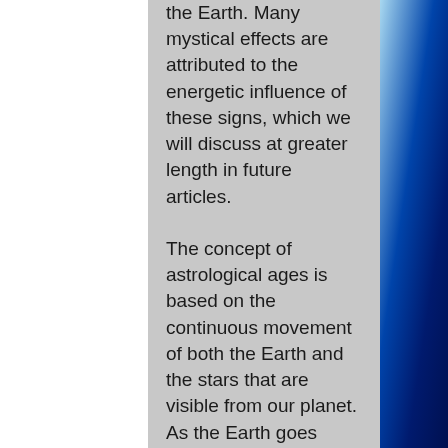the Earth. Many mystical effects are attributed to the energetic influence of these signs, which we will discuss at greater length in future articles.

The concept of astrological ages is based on the continuous movement of both the Earth and the stars that are visible from our planet. As the Earth goes about its wobbly rotations, the positions of the stars, from our point of view, changes over time. In recorded history, this was first observed in 127 BCE by the Greek astronomer Hipparchus, who found that, over a period of many years, the zodiac sign that is visible at the vernal equinox changed in a consistent manner. This effect, called the precession of